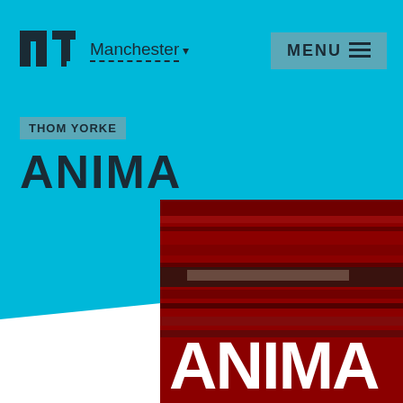nt Manchester  MENU
THOM YORKE
ANIMA
[Figure (photo): Red-toned promotional image for ANIMA showing the word ANIMA in large white block letters against a dark red/crimson background with horizontal streaks and industrial imagery]